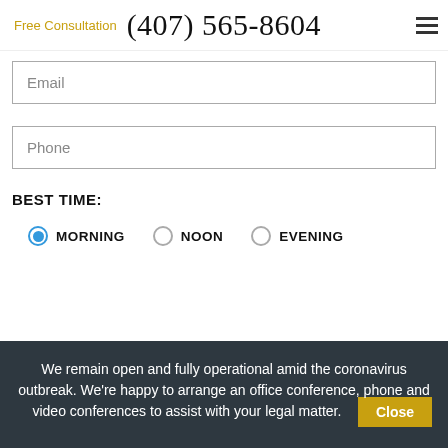Free Consultation  (407) 565-8604
Email
Phone
BEST TIME:
MORNING   NOON   EVENING
We remain open and fully operational amid the coronavirus outbreak. We're happy to arrange an office conference, phone and video conferences to assist with your legal matter.  Close